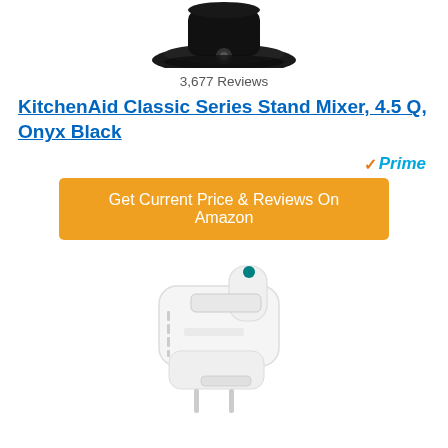[Figure (photo): Partial image of a KitchenAid stand mixer in Onyx Black, showing the bottom/base portion of the mixer]
3,677 Reviews
KitchenAid Classic Series Stand Mixer, 4.5 Q, Onyx Black
[Figure (logo): Amazon Prime badge with orange checkmark and blue 'Prime' text]
Get Current Price & Reviews On Amazon
[Figure (photo): White Hamilton Beach hand mixer product image]